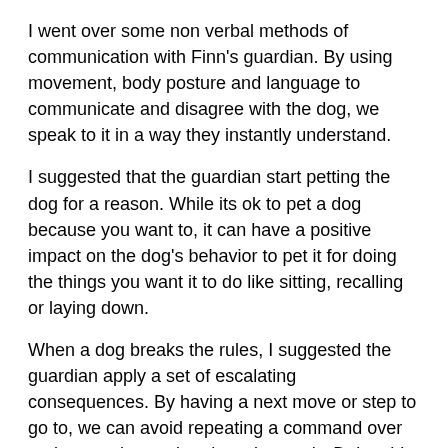I went over some non verbal methods of communication with Finn's guardian. By using movement, body posture and language to communicate and disagree with the dog, we speak to it in a way they instantly understand.
I suggested that the guardian start petting the dog for a reason. While its ok to pet a dog because you want to, it can have a positive impact on the dog's behavior to pet it for doing the things you want it to do like sitting, recalling or laying down.
When a dog breaks the rules, I suggested the guardian apply a set of escalating consequences. By having a next move or step to go to, we can avoid repeating a command over and over. when a dog doesn't comply. Doing this only weakens the dog's respect for your authority.
Instead of applying some punitive measure (which dogs don't really learn from), my first consequence is to stand up abruptly and turn so that my shoulders are facing the dog. To